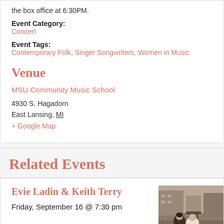the box office at 6:30PM.
Event Category: Concert
Event Tags: Contemporary Folk, Singer Songwriters, Women in Music
Venue
MSU Community Music School
4930 S. Hagadorn
East Lansing, MI
+ Google Map
Related Events
Evie Ladin & Keith Terry
Friday, September 16 @ 7:30 pm
[Figure (photo): Photo of two performers, a woman and a man, posed casually outdoors near buildings and a boat.]